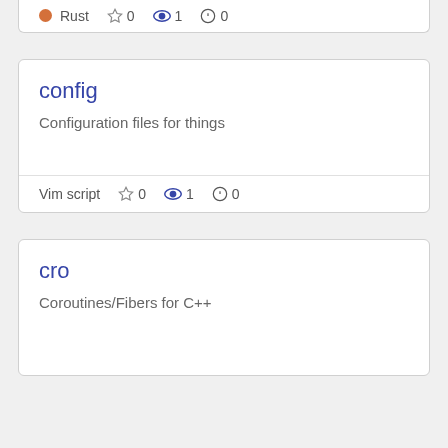Rust ☆ 0 👁 1 ⚠ 0
config
Configuration files for things
Vim script ☆ 0 👁 1 ⚠ 0
cro
Coroutines/Fibers for C++